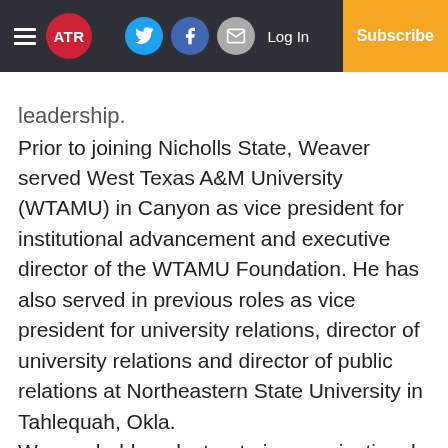ATR | Log In | Subscribe
leadership.
Prior to joining Nicholls State, Weaver served West Texas A&M University (WTAMU) in Canyon as vice president for institutional advancement and executive director of the WTAMU Foundation. He has also served in previous roles as vice president for university relations, director of university relations and director of public relations at Northeastern State University in Tahlequah, Okla.
Weaver holds a doctorate in organizational leadership from the University of Oklahoma in Norman. He earned a master's of business administration from Southeastern Oklahoma State